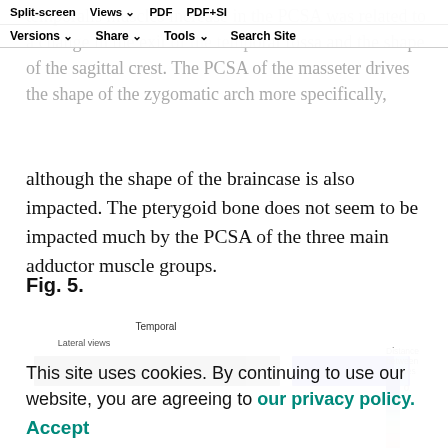temporalis muscles increase in the PCSA was related to a change in the exit of the temporal fossa and the shape of the sagittal crest. The PCSA of the masseter drives the shape of the zygomatic arch more specifically, although the shape of the braincase is also impacted. The pterygoid bone does not seem to be impacted much by the PCSA of the three main adductor muscle groups.
Split-screen Views PDF PDF+SI Versions Share Tools Search Site
Fig. 5.
[Figure (illustration): Lateral views of skull meshes and Temporal region comparison. Two horizontal bar-like shapes: one black (lateral view) and one blue (temporal view) with a color scale legend on the right labeled 'Distance between meshes' showing a gradient from dark blue (0) to light pink/red.]
This site uses cookies. By continuing to use our website, you are agreeing to our privacy policy. Accept